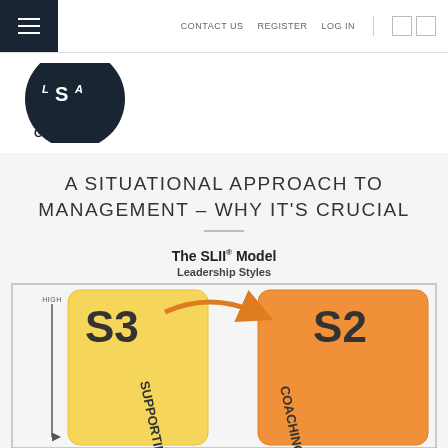CONTACT US   REGISTER   LOG IN
[Figure (logo): LSA GLOBAL logo — dark circular emblem with letters LSA and word GLOBAL below]
A SITUATIONAL APPROACH TO MANAGEMENT – WHY IT'S CRUCIAL
[Figure (infographic): The SLII® Model showing Leadership Styles. Partial view of diagram with y-axis labeled BEHAVIOR (HIGH arrow), showing S3 SUPPORTING (yellow card) and S2 COACHING (orange card) with curved arrow between them.]